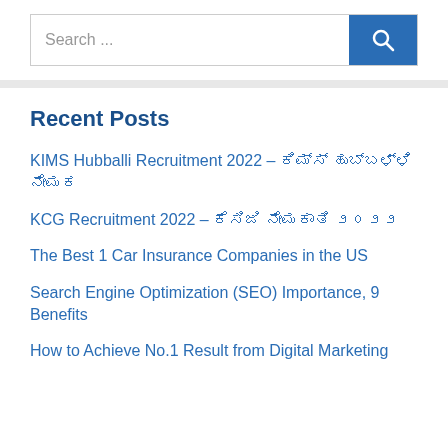[Figure (screenshot): Search bar with text 'Search ...' and a blue search button with magnifying glass icon]
Recent Posts
KIMS Hubballi Recruitment 2022 – ಕಿಮ್ಸ್ ಹುಬ್ಬಳ್ಳಿ ನೇಮಕ
KCG Recruitment 2022 – ಕೆಸಿಜಿ ನೇಮಕಾತಿ ೨೦೨೨
The Best 1 Car Insurance Companies in the US
Search Engine Optimization (SEO) Importance, 9 Benefits
How to Achieve No.1 Result from Digital Marketing